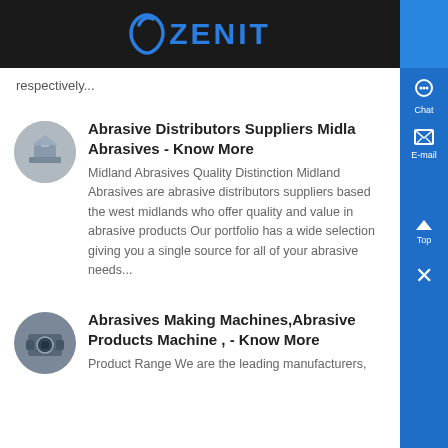ZENIT
respectively...
Abrasive Distributors Suppliers Midla Abrasives - Know More
Midland Abrasives Quality Distinction Midland Abrasives are abrasive distributors suppliers based the west midlands who offer quality and value in abrasive products Our portfolio has a wide selection giving you a single source for all of your abrasive needs...
Abrasives Making Machines,Abrasive Products Machine , - Know More
Product Range We are the leading manufacturers,